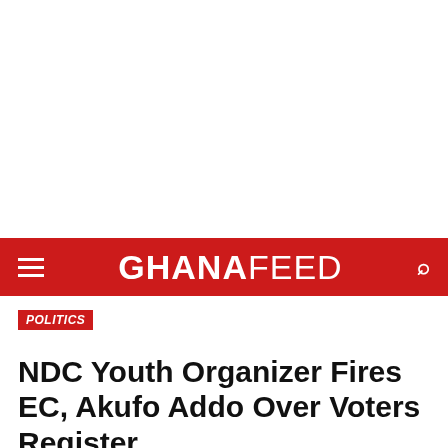GHANAFEED
POLITICS
NDC Youth Organizer Fires EC, Akufo Addo Over Voters Register